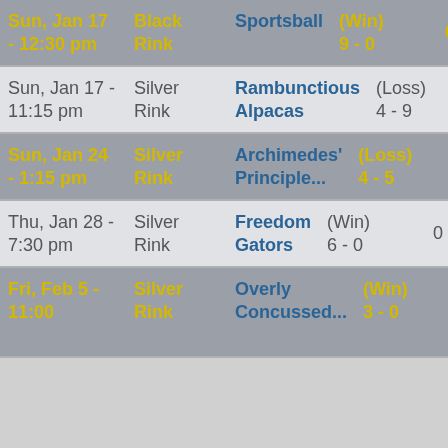| Date | Rink | Opponent | Result | Pts |
| --- | --- | --- | --- | --- |
| Sun, Jan 17 - 12:30 pm | Black Rink | Sportsball | (Win) 9 - 0 | 0 |
| Sun, Jan 17 - 11:15 pm | Silver Rink | Rambunctious Alpacas | (Loss) 4 - 9 | 0 |
| Sun, Jan 24 - 1:15 pm | Silver Rink | Archimedes' Principle... | (Loss) 4 - 5 | 0 |
| Thu, Jan 28 - 7:30 pm | Silver Rink | Freedom Gators | (Win) 6 - 0 | 0 |
| Fri, Feb 5 - 11:00 | Silver Rink | Overly Concussed... | (Win) 3 - 0 | 0 |